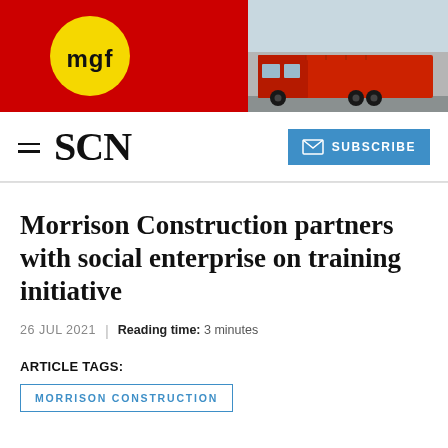[Figure (logo): MGF company banner with yellow circle logo containing 'mgf' text in black on a red background, with a photo of a red truck on the right side]
SCN | SUBSCRIBE
Morrison Construction partners with social enterprise on training initiative
26 JUL 2021 | Reading time: 3 minutes
ARTICLE TAGS:
MORRISON CONSTRUCTION